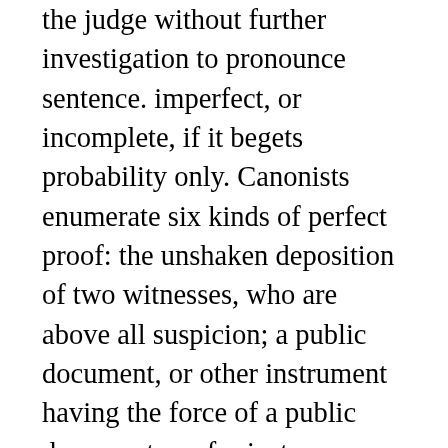the judge without further investigation to pronounce sentence. imperfect, or incomplete, if it begets probability only. Canonists enumerate six kinds of perfect proof: the unshaken deposition of two witnesses, who are above all suspicion; a public document, or other instrument having the force of a public document, as, for instance, a certified copy of a public instrument; conclusive presumption of law; the decisive oath; judicial confession; evidence or notoriety of the fact. Imperfect or semi-proof is derived from the testimony of one witness only, or of several singular witnesses, or of two witnesses not entirely unshaken in their testimony or not beyond all suspicion; writings or instruments of a private character; a document admitted as authentic only on the strength of the handwriting; the necessary oath; presumption which is only probable, not conclusive; public report when legally proved. Two imperfect proofs cannot constitute perfect proof in criminal cases, in which proof must be clearer than the noonday sun; in matrimonial cases, when there is question of the validity of a marriage already contracted; or in civil actions of a grave character. With these exceptions two incomplete proofs tending to